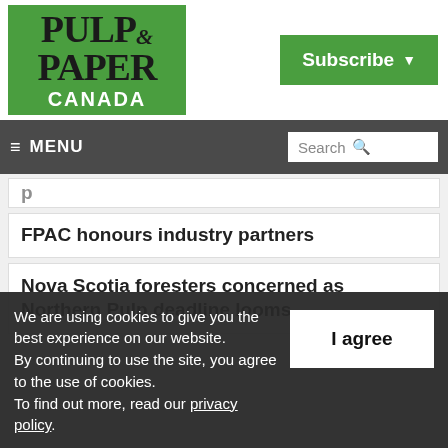[Figure (logo): Pulp & Paper Canada logo on green background]
[Figure (screenshot): Subscribe button, green background with white text and dropdown arrow]
MENU  Search
FPAC honours industry partners
Nova Scotia foresters concerned as Northern Pulp deadline looms
We are using cookies to give you the best experience on our website.
By continuing to use the site, you agree to the use of cookies.
To find out more, read our privacy policy.